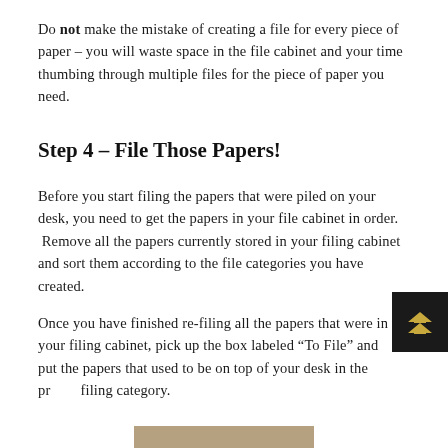Do not make the mistake of creating a file for every piece of paper – you will waste space in the file cabinet and your time thumbing through multiple files for the piece of paper you need.
Step 4 – File Those Papers!
Before you start filing the papers that were piled on your desk, you need to get the papers in your file cabinet in order.  Remove all the papers currently stored in your filing cabinet and sort them according to the file categories you have created.
Once you have finished re-filing all the papers that were in your filing cabinet, pick up the box labeled “To File” and put the papers that used to be on top of your desk in the proper filing category.